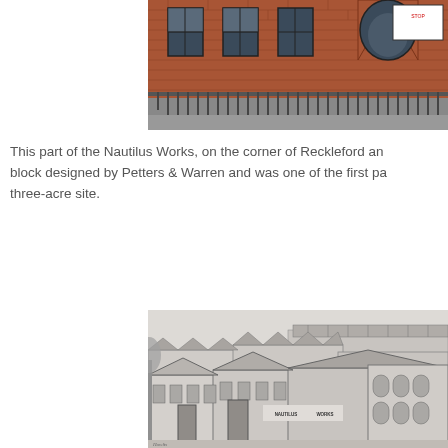[Figure (photo): Photograph of the Nautilus Works brick building on the corner of Reckleford, showing red brick facade with arched windows, iron railings and fencing in the foreground.]
This part of the Nautilus Works, on the corner of Reckleford and block designed by Petters & Warren and was one of the first pa three-acre site.
[Figure (illustration): Historic black and white illustration or engraving of the Nautilus Works industrial complex showing multiple factory buildings with skylights and the sign reading NAUTILUS WORKS.]